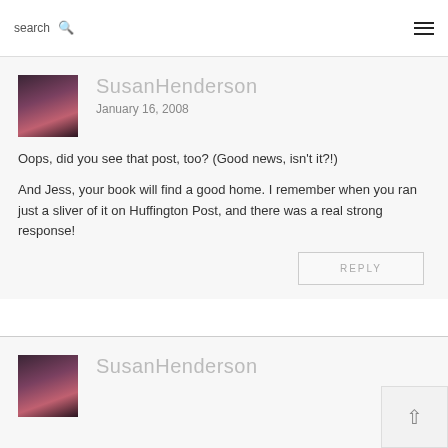search ☰
SusanHenderson
January 16, 2008
Oops, did you see that post, too? (Good news, isn't it?!)
And Jess, your book will find a good home. I remember when you ran just a sliver of it on Huffington Post, and there was a real strong response!
REPLY
SusanHenderson